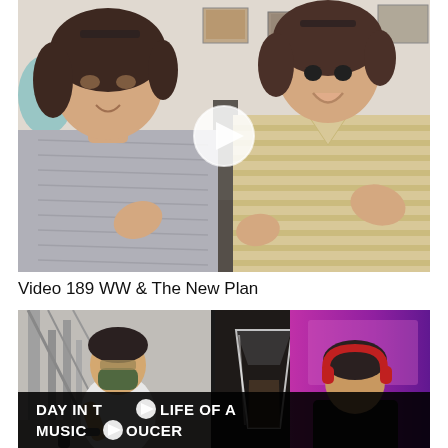[Figure (screenshot): Video thumbnail showing two women with short dark hair talking animatedly, facing each other, with a play button overlay in the center. Left woman wears a grey shirt, right woman wears a beige striped shirt. Indoor home setting.]
Video 189 WW & The New Plan
[Figure (screenshot): Video thumbnail with three-panel collage: left shows a man in a face mask at a gym with equipment, center has a glass/cup on dark background, right shows a person wearing red headphones in a pink/purple lit room. Text overlay reads 'DAY IN THE LIFE OF A MUSIC PRODUCER' with a play button icon embedded in the text.]